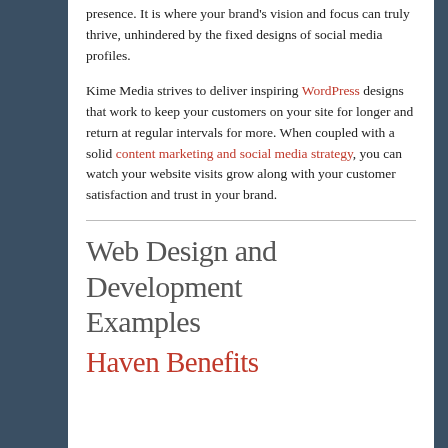presence. It is where your brand's vision and focus can truly thrive, unhindered by the fixed designs of social media profiles.
Kime Media strives to deliver inspiring WordPress designs that work to keep your customers on your site for longer and return at regular intervals for more. When coupled with a solid content marketing and social media strategy, you can watch your website visits grow along with your customer satisfaction and trust in your brand.
Web Design and Development Examples
Haven Benefits